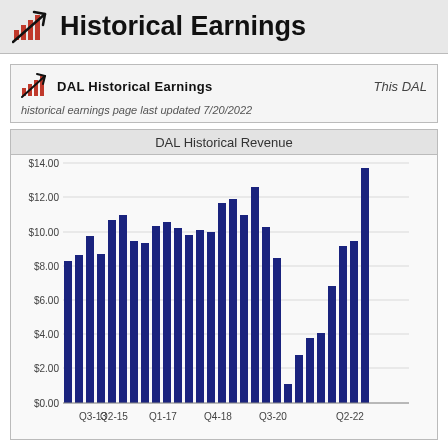Historical Earnings
DAL Historical Earnings   This DAL
historical earnings page last updated 7/20/2022
[Figure (bar-chart): DAL Historical Revenue]